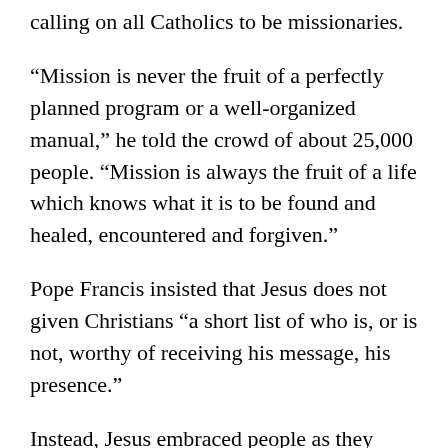calling on all Catholics to be missionaries.
“Mission is never the fruit of a perfectly planned program or a well-organized manual,” he told the crowd of about 25,000 people. “Mission is always the fruit of a life which knows what it is to be found and healed, encountered and forgiven.”
Pope Francis insisted that Jesus does not given Christians “a short list of who is, or is not, worthy of receiving his message, his presence.”
Instead, Jesus embraced people as they were, even those who were “dirty, unkept, broken,” he said. Jesus says to believers today, like yesterday, “Go out and embrace life as it is, and not as you think it